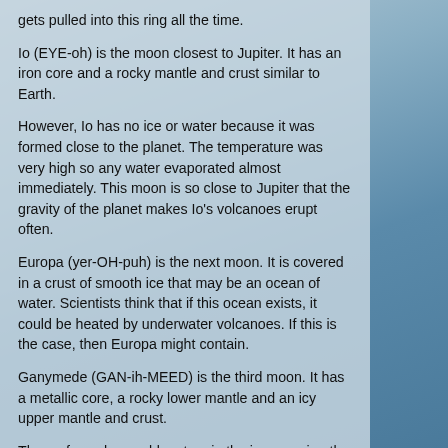gets pulled into this ring all the time.
Io (EYE-oh) is the moon closest to Jupiter. It has an iron core and a rocky mantle and crust similar to Earth.
However, Io has no ice or water because it was formed close to the planet. The temperature was very high so any water evaporated almost immediately. This moon is so close to Jupiter that the gravity of the planet makes Io's volcanoes erupt often.
Europa (yer-OH-puh) is the next moon. It is covered in a crust of smooth ice that may be an ocean of water. Scientists think that if this ocean exists, it could be heated by underwater volcanoes. If this is the case, then Europa might contain.
Ganymede (GAN-ih-MEED) is the third moon. It has a metallic core, a rocky lower mantle and an icy upper mantle and crust.
The surface shows old craters in the ice covering the moon. Those are the dark regions in pictures. The brighter areas are considered younger ice.